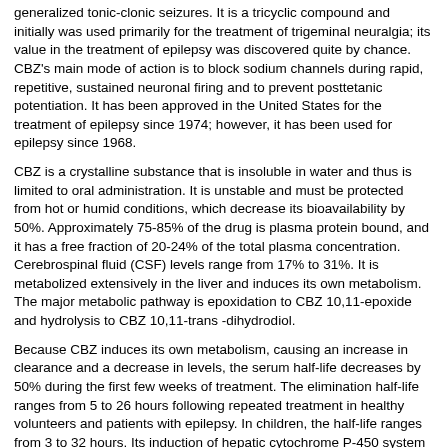generalized tonic-clonic seizures. It is a tricyclic compound and initially was used primarily for the treatment of trigeminal neuralgia; its value in the treatment of epilepsy was discovered quite by chance. CBZ's main mode of action is to block sodium channels during rapid, repetitive, sustained neuronal firing and to prevent posttetanic potentiation. It has been approved in the United States for the treatment of epilepsy since 1974; however, it has been used for epilepsy since 1968.
CBZ is a crystalline substance that is insoluble in water and thus is limited to oral administration. It is unstable and must be protected from hot or humid conditions, which decrease its bioavailability by 50%. Approximately 75-85% of the drug is plasma protein bound, and it has a free fraction of 20-24% of the total plasma concentration. Cerebrospinal fluid (CSF) levels range from 17% to 31%. It is metabolized extensively in the liver and induces its own metabolism. The major metabolic pathway is epoxidation to CBZ 10,11-epoxide and hydrolysis to CBZ 10,11-trans -dihydrodiol.
Because CBZ induces its own metabolism, causing an increase in clearance and a decrease in levels, the serum half-life decreases by 50% during the first few weeks of treatment. The elimination half-life ranges from 5 to 26 hours following repeated treatment in healthy volunteers and patients with epilepsy. In children, the half-life ranges from 3 to 32 hours. Its induction of hepatic cytochrome P-450 system activity also increases the metabolism of other AEDs. Peak levels of the drug are present in the blood for 4-8 hours.
Formulations that are available include suspension, syrup, tablets (100 mg, 200 mg, 400 mg), chewable tablets (100 mg, 200 mg), extended-release capsules (Tegretol XR; 100 mg, 200 mg, 400 mg), Carbatrol (200 mg, 300 mg), and rectal suppositories. The extended-release preparations, Tegretol XR (Novartis) and Carbatrol (Shire), are better tolerated than the immediate-release preparations.